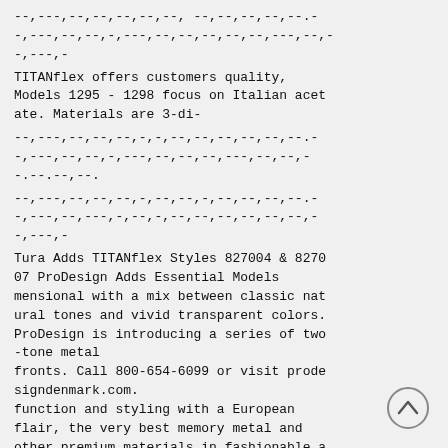--,---,--,--,--,--,--, --,--,--,--,--.-
-,---,--,--,-,---,--,--,--,--,--,---,--,-
-,---,-
TITANflex offers customers quality, Models 1295 - 1298 focus on Italian acetate. Materials are 3-di-
--,---,--,--,--,-,-,--,--,--,--,--,--.-
-,---,--,--,-,---,--,--,--,---,--,--,-
-.--.--.--.
--,---,--,--,--,-,--,--,-,--,--,--,--.-
-,---,--,---,-,--,-,--,--,--,--,--,--,-
-,---,-
Tura Adds TITANflex Styles 827004 & 827007 ProDesign Adds Essential Models mensional with a mix between classic natural tones and vivid transparent colors. ProDesign is introducing a series of two-tone metal
fronts. Call 800-654-6099 or visit prodesigndenmark.com.
function and styling with a European flair, the very best memory metal and other premium materials in fashionable and wearable shapes and masculine colors.
[Figure (other): Scroll-to-top button: circle with upward chevron arrow]